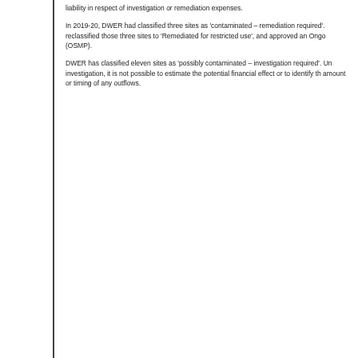liability in respect of investigation or remediation expenses.
In 2019-20, DWER had classified three sites as 'contaminated – remediation required'. reclassified those three sites to 'Remediated for restricted use', and approved an Ongo (OSMP).
DWER has classified eleven sites as 'possibly contaminated – investigation required'. Un investigation, it is not possible to estimate the potential financial effect or to identify th amount or timing of any outflows.